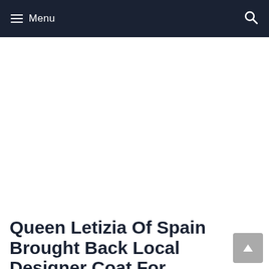Menu
Queen Letizia Of Spain Brought Back Local Designer Coat For Princess Of Asturias Awards